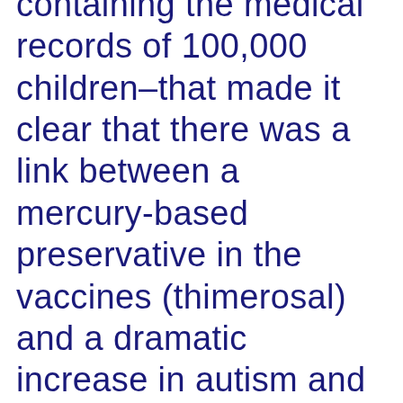containing the medical records of 100,000 children–that made it clear that there was a link between a mercury-based preservative in the vaccines (thimerosal) and a dramatic increase in autism and numerous other neurological disorders